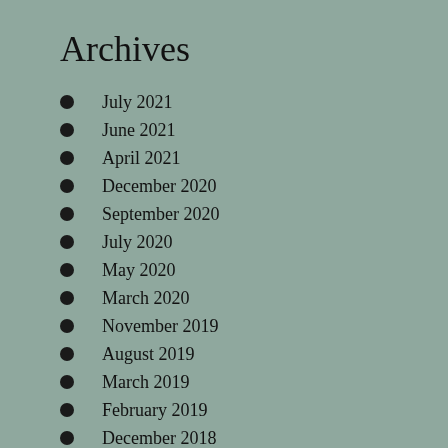Archives
July 2021
June 2021
April 2021
December 2020
September 2020
July 2020
May 2020
March 2020
November 2019
August 2019
March 2019
February 2019
December 2018
October 2018
August 2018
July 2018
June 2018
May 2018
April 2018